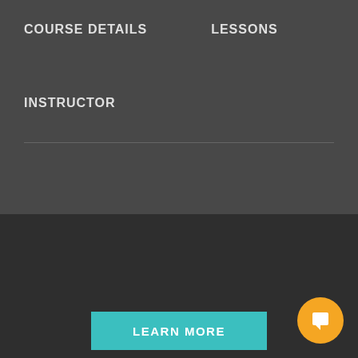COURSE DETAILS    LESSONS
INSTRUCTOR
Want Unlimited Access to Our 900+ Courses? Become a Member today!
LEARN MORE